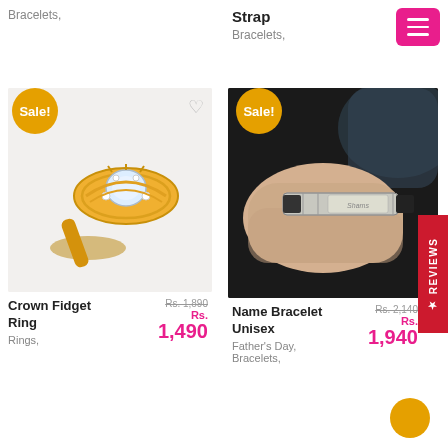Menu navigation button
Bracelets,
Strap
Bracelets,
[Figure (photo): Crown Fidget Ring - gold ring with gemstone on white background, Sale badge in yellow circle]
Crown Fidget Ring
Rings,
Rs. 1,890  Rs. 1,490
[Figure (photo): Name Bracelet Unisex - silver bracelet on wrist, dark background, Sale badge in yellow circle]
Name Bracelet Unisex
Father's Day,
Bracelets,
Rs. 2,140  Rs. 1,940